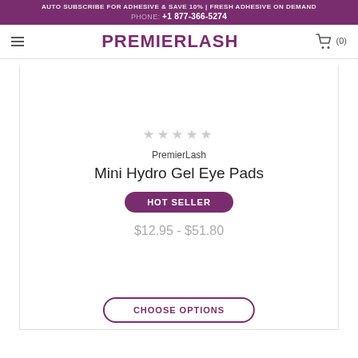AUTO SUBSCRIBE FOR ADHESIVE & SAVE 10% | FRESH ADHESIVE ON DEMAND
PHONE: +1 877-366-5274
[Figure (logo): PremierLash logo with hamburger menu and cart icon showing (0) items]
[Figure (other): Product image area for Mini Hydro Gel Eye Pads (blank/white)]
PremierLash
Mini Hydro Gel Eye Pads
HOT SELLER
$12.95 - $51.80
CHOOSE OPTIONS